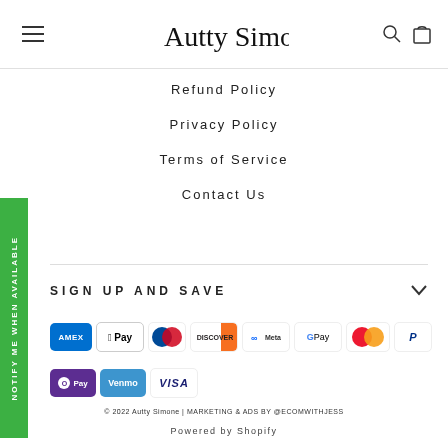Autty Simone
Refund Policy
Privacy Policy
Terms of Service
Contact Us
SIGN UP AND SAVE
[Figure (logo): Payment method icons: American Express, Apple Pay, Diners Club, Discover, Meta Pay, Google Pay, Mastercard, PayPal, OPay, Venmo, Visa]
© 2022 Autty Simone | MARKETING & ADS BY @ECOMWITHJESS
Powered by Shopify